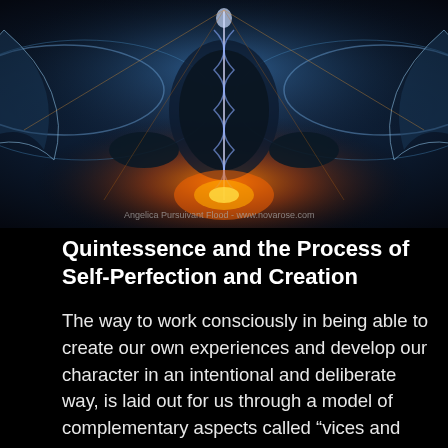[Figure (illustration): Digital art illustration of a symmetrical meditating figure with cosmic/spiritual imagery, caduceus-like spine of light, wings or energy fields on sides, glowing orange energy at base, blue and teal tones, dark background. Watermark text visible at bottom: 'Angelica Pursuivant Flood - www.novarose.com']
Quintessence and the Process of Self-Perfection and Creation
The way to work consciously in being able to create our own experiences and develop our character in an intentional and deliberate way, is laid out for us through a model of complementary aspects called “vices and virtues”. Vices can be thought of as weaknesses and character flaws that form addictions and are destructive in nature, and virtues are strengths that empower us and provide us with the means for transforming weaknesses into strengths. We can act on ourselves to evolve ourselves to a higher and more divine nature by first